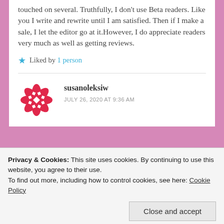touched on several. Truthfully, I don't use Beta readers. Like you I write and rewrite until I am satisfied. Then if I make a sale, I let the editor go at it.However, I do appreciate readers very much as well as getting reviews.
Liked by 1 person
susanoleksiw
JULY 26, 2020 AT 9:36 AM
Privacy & Cookies: This site uses cookies. By continuing to use this website, you agree to their use.
To find out more, including how to control cookies, see here: Cookie Policy
Close and accept
on. This past week everything has seemed